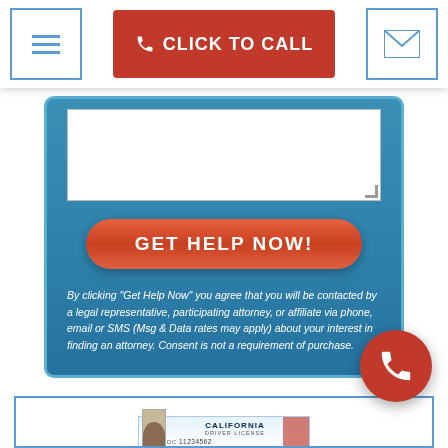CLICK TO CALL
[Figure (screenshot): Blue form panel with textarea input, GET HELP NOW button, and disclaimer text]
By clicking "Get Help Now" you agree that you will be contacted by a legal representative, participating attorney, or affiliate via phone, email or SMS (Msg & Data rates may apply) about your interest in finding an attorney. Consent is not a requirement of purchase.
[Figure (photo): California Driver License card showing DC 11234562]